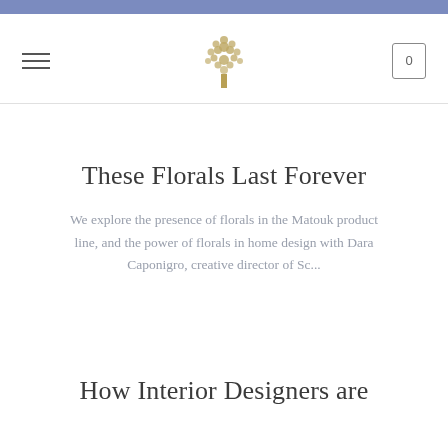[Figure (logo): Golden tree logo centered in navigation bar]
These Florals Last Forever
We explore the presence of florals in the Matouk product line, and the power of florals in home design with Dara Caponigro, creative director of Sc...
How Interior Designers are